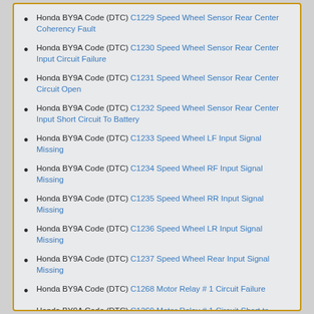Honda BY9A Code (DTC) C1229 Speed Wheel Sensor Rear Center Coherency Fault
Honda BY9A Code (DTC) C1230 Speed Wheel Sensor Rear Center Input Circuit Failure
Honda BY9A Code (DTC) C1231 Speed Wheel Sensor Rear Center Circuit Open
Honda BY9A Code (DTC) C1232 Speed Wheel Sensor Rear Center Input Short Circuit To Battery
Honda BY9A Code (DTC) C1233 Speed Wheel LF Input Signal Missing
Honda BY9A Code (DTC) C1234 Speed Wheel RF Input Signal Missing
Honda BY9A Code (DTC) C1235 Speed Wheel RR Input Signal Missing
Honda BY9A Code (DTC) C1236 Speed Wheel LR Input Signal Missing
Honda BY9A Code (DTC) C1237 Speed Wheel Rear Input Signal Missing
Honda BY9A Code (DTC) C1268 Motor Relay # 1 Circuit Failure
Honda BY9A Code (DTC) C1269 Motor Relay # 1 Circuit Short to Battery